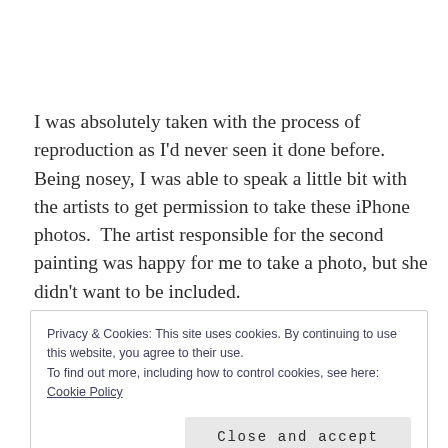I was absolutely taken with the process of reproduction as I'd never seen it done before.  Being nosey, I was able to speak a little bit with the artists to get permission to take these iPhone photos.  The artist responsible for the second painting was happy for me to take a photo, but she didn't want to be included.
Privacy & Cookies: This site uses cookies. By continuing to use this website, you agree to their use.
To find out more, including how to control cookies, see here: Cookie Policy

Close and accept